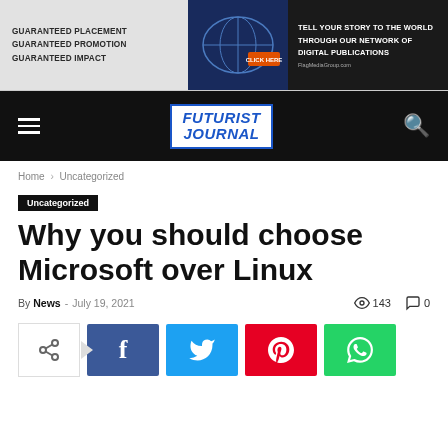[Figure (illustration): Advertisement banner with text 'Guaranteed Placement Guaranteed Promotion Guaranteed Impact', globe image, and 'Tell Your Story To The World Through Our Network Of Digital Publications' with FlagMediaGroup.com]
[Figure (logo): Futurist Journal logo in italic bold blue text with border, on black navigation bar with hamburger menu and search icon]
Home › Uncategorized
Uncategorized
Why you should choose Microsoft over Linux
By News - July 19, 2021  143  0
[Figure (infographic): Social share buttons: share icon box with arrow, Facebook (f), Twitter (bird), Pinterest (p), WhatsApp (phone) buttons]